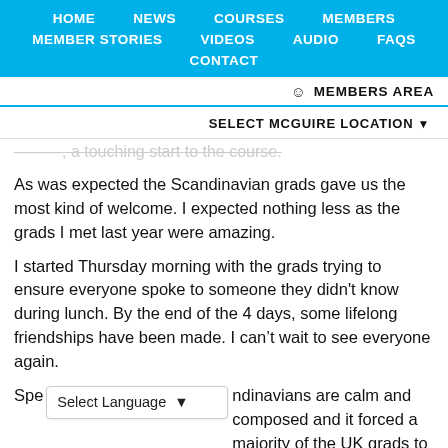HOME   NEWS   COURSES   MEMBERS   MEMBER STORIES   VIDEOS   AUDIO   FAQS   CONTACT
MEMBERS AREA
SELECT MCGUIRE LOCATION
As was expected the Scandinavian grads gave us the most kind of welcome. I expected nothing less as the grads I met last year were amazing.
I started Thursday morning with the grads trying to ensure everyone spoke to someone they didn't know during lunch. By the end of the 4 days, some lifelong friendships have been made. I can't wait to see everyone again.
Speaking of the Scandinavians are calm and composed and it forced a majority of the UK grads to